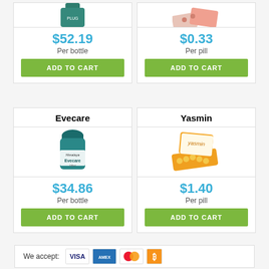[Figure (photo): Pill bottle product image (partial, top cut off), price $52.19 per bottle]
$52.19
Per bottle
ADD TO CART
[Figure (photo): Pill blister pack product image (partial, top cut off), price $0.33 per pill]
$0.33
Per pill
ADD TO CART
Evecare
[Figure (photo): Himalaya Evecare bottle, teal cap, labeled Evecare]
$34.86
Per bottle
ADD TO CART
Yasmin
[Figure (photo): Yasmin pill blister pack and orange box packaging]
$1.40
Per pill
ADD TO CART
We accept: